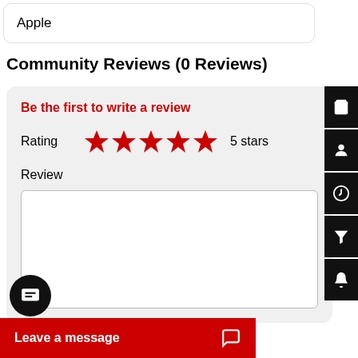Apple
Community Reviews (0 Reviews)
Be the first to write a review
Rating   ★★★★★   5 stars
Review
Leave a message